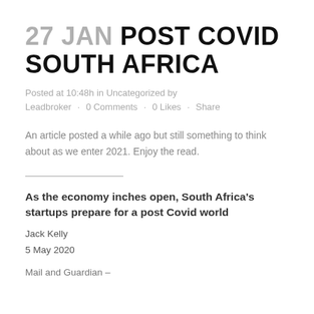27 JAN POST COVID SOUTH AFRICA
Posted at 10:48h in Uncategorized by Leadbroker · 0 Comments · 0 Likes · Share
An article posted a while ago but still something to think about as we enter 2021. Enjoy the read.
As the economy inches open, South Africa's startups prepare for a post Covid world
Jack Kelly
5 May 2020
Mail and Guardian –